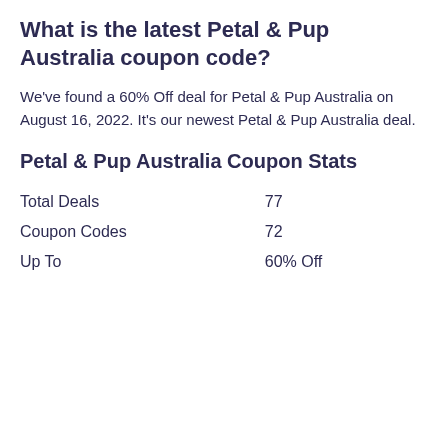What is the latest Petal & Pup Australia coupon code?
We've found a 60% Off deal for Petal & Pup Australia on August 16, 2022. It's our newest Petal & Pup Australia deal.
Petal & Pup Australia Coupon Stats
| Total Deals | 77 |
| Coupon Codes | 72 |
| Up To | 60% Off |